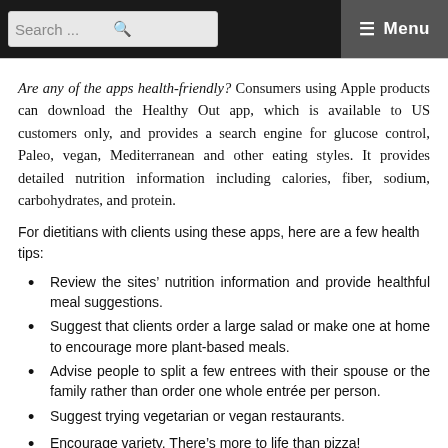Search ... ☰ Menu
Are any of the apps health-friendly? Consumers using Apple products can download the Healthy Out app, which is available to US customers only, and provides a search engine for glucose control, Paleo, vegan, Mediterranean and other eating styles. It provides detailed nutrition information including calories, fiber, sodium, carbohydrates, and protein.
For dietitians with clients using these apps, here are a few health tips:
Review the sites' nutrition information and provide healthful meal suggestions.
Suggest that clients order a large salad or make one at home to encourage more plant-based meals.
Advise people to split a few entrees with their spouse or the family rather than order one whole entrée per person.
Suggest trying vegetarian or vegan restaurants.
Encourage variety. There's more to life than pizza!